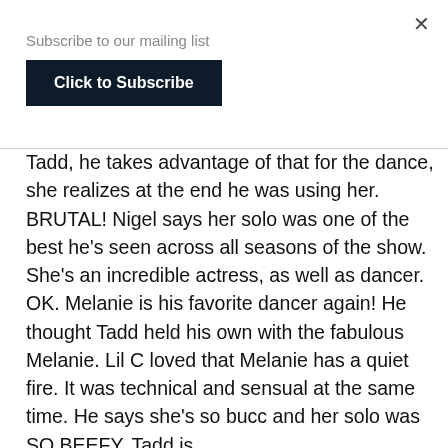×
Subscribe to our mailing list
Click to Subscribe
Tadd, he takes advantage of that for the dance, she realizes at the end he was using her. BRUTAL! Nigel says her solo was one of the best he's seen across all seasons of the show. She's an incredible actress, as well as dancer. OK. Melanie is his favorite dancer again! He thought Tadd held his own with the fabulous Melanie. Lil C loved that Melanie has a quiet fire. It was technical and sensual at the same time. He says she's so bucc and her solo was SO BEEFY. Tadd is